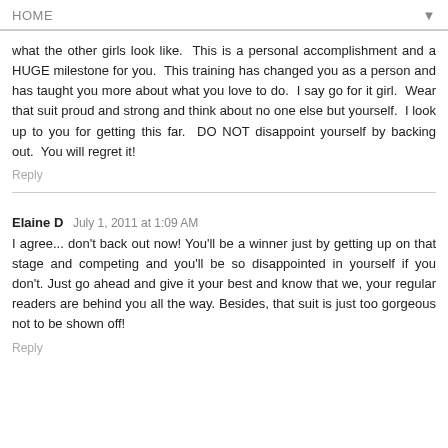HOME
what the other girls look like.  This is a personal accomplishment and a HUGE milestone for you.  This training has changed you as a person and has taught you more about what you love to do.  I say go for it girl.  Wear that suit proud and strong and think about no one else but yourself.  I look up to you for getting this far.  DO NOT disappoint yourself by backing out.  You will regret it!
Reply
Elaine D  July 1, 2011 at 1:09 AM
I agree... don't back out now! You'll be a winner just by getting up on that stage and competing and you'll be so disappointed in yourself if you don't. Just go ahead and give it your best and know that we, your regular readers are behind you all the way. Besides, that suit is just too gorgeous not to be shown off!
Reply